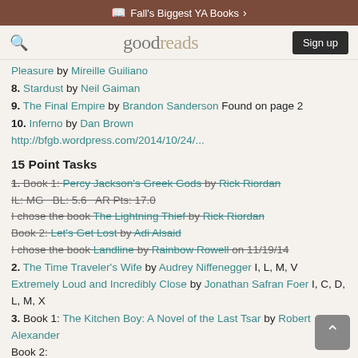Fall's Biggest YA Books →
goodreads — Sign up
Pleasure by Mireille Guiliano
8. Stardust by Neil Gaiman
9. The Final Empire by Brandon Sanderson Found on page 2
10. Inferno by Dan Brown
http://bfgb.wordpress.com/2014/10/24/...
15 Point Tasks
1. (strikethrough) Book 1: Percy Jackson's Greek Gods by Rick Riordan
IL: MG  BL: 5.6  AR Pts: 17.0
I chose the book The Lightning Thief by Rick Riordan
Book 2: Let's Get Lost by Adi Alsaid
I chose the book Landline by Rainbow Rowell on 11/19/14
2. The Time Traveler's Wife by Audrey Niffenegger I, L, M, V
Extremely Loud and Incredibly Close by Jonathan Safran Foer I, C, D, L, M, X
3. Book 1: The Kitchen Boy: A Novel of the Last Tsar by Robert Alexander
Book 2:
4. Book 1: Atlantia by Ally Condie